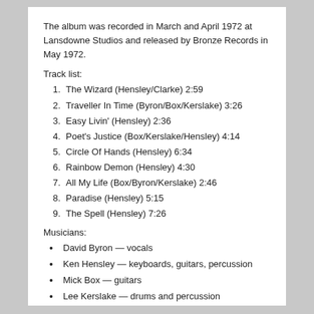The album was recorded in March and April 1972 at Lansdowne Studios and released by Bronze Records in May 1972.
Track list:
1. The Wizard (Hensley/Clarke) 2:59
2. Traveller In Time (Byron/Box/Kerslake) 3:26
3. Easy Livin' (Hensley) 2:36
4. Poet's Justice (Box/Kerslake/Hensley) 4:14
5. Circle Of Hands (Hensley) 6:34
6. Rainbow Demon (Hensley) 4:30
7. All My Life (Box/Byron/Kerslake) 2:46
8. Paradise (Hensley) 5:15
9. The Spell (Hensley) 7:26
Musicians:
David Byron — vocals
Ken Hensley — keyboards, guitars, percussion
Mick Box — guitars
Lee Kerslake — drums and percussion
Gary Thain — bass guitar
Mark Clarke — bass guitar, vocals